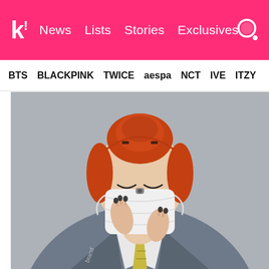k! News Lists Stories Exclusives
BTS BLACKPINK TWICE aespa NCT IVE ITZY
[Figure (photo): Young woman with orange/red hair in a bun, wearing a white face mask, grey blazer, white collared shirt, and yellow plaid tie. She is adjusting her mask with both hands, eyes downcast. Background is grey.]